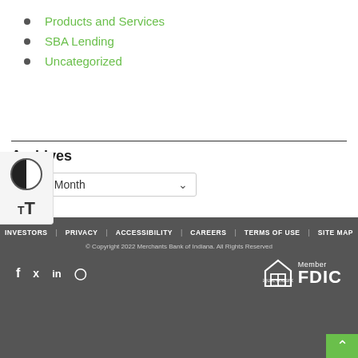Products and Services
SBA Lending
Uncategorized
Archives
INVESTORS | PRIVACY | ACCESSIBILITY | CAREERS | TERMS OF USE | SITE MAP
© Copyright 2022 Merchants Bank of Indiana. All Rights Reserved